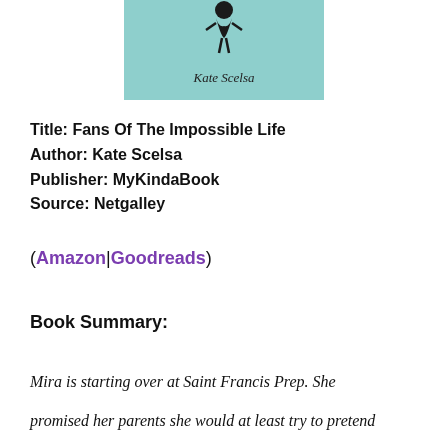[Figure (illustration): Book cover with teal/mint green background showing 'Kate Scelsa' in italic script at the bottom, with a small illustrated figure at the top]
Title: Fans Of The Impossible Life
Author: Kate Scelsa
Publisher: MyKindaBook
Source: Netgalley
(Amazon|Goodreads)
Book Summary:
Mira is starting over at Saint Francis Prep. She promised her parents she would at least try to pretend